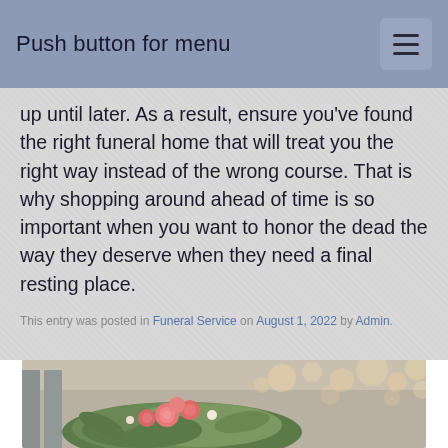Push button for menu
up until later. As a result, ensure you've found the right funeral home that will treat you the right way instead of the wrong course. That is why shopping around ahead of time is so important when you want to honor the dead the way they deserve when they need a final resting place.
This entry was posted in Funeral Service on August 1, 2022 by Admin.
[Figure (photo): Photo of a floral arrangement with pink/coral roses and greenery, with bokeh string lights in the background]